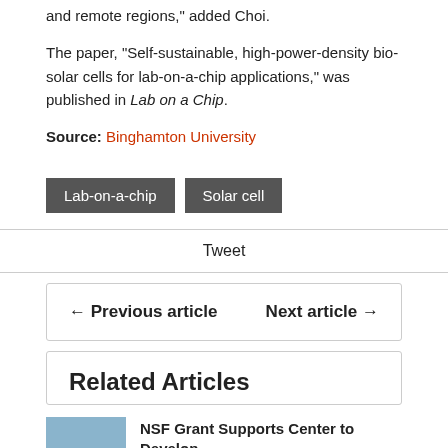and remote regions," added Choi.
The paper, “Self-sustainable, high-power-density bio-solar cells for lab-on-a-chip applications,” was published in Lab on a Chip.
Source: Binghamton University
Lab-on-a-chip
Solar cell
Tweet
← Previous article
Next article →
Related Articles
NSF Grant Supports Center to Develop...